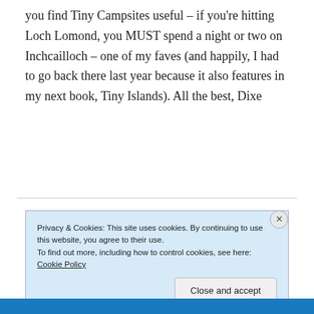you find Tiny Campsites useful – if you're hitting Loch Lomond, you MUST spend a night or two on Inchcailloch – one of my faves (and happily, I had to go back there last year because it also features in my next book, Tiny Islands). All the best, Dixe
Privacy & Cookies: This site uses cookies. By continuing to use this website, you agree to their use.
To find out more, including how to control cookies, see here: Cookie Policy
Close and accept